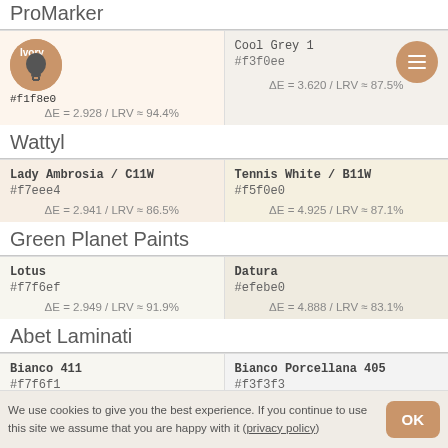ProMarker
| Ivory / #f1f8e0 / ΔE = 2.928 / LRV ≈ 94.4% | Cool Grey 1 / #f3f0ee / ΔE = 3.620 / LRV ≈ 87.5% |
Wattyl
| Lady Ambrosia / C11W / #f7eee4 / ΔE = 2.941 / LRV ≈ 86.5% | Tennis White / B11W / #f5f0e0 / ΔE = 4.925 / LRV ≈ 87.1% |
Green Planet Paints
| Lotus / #f7f6ef / ΔE = 2.949 / LRV ≈ 91.9% | Datura / #efebe0 / ΔE = 4.888 / LRV ≈ 83.1% |
Abet Laminati
| Bianco 411 / #f7f6f1 | Bianco Porcellana 405 / #f3f3f3 |
We use cookies to give you the best experience. If you continue to use this site we assume that you are happy with it (privacy policy)